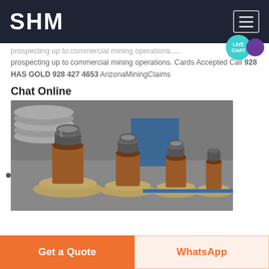SHM
prospecting up to commercial mining operations. Cards Accepted Call 928 HAS GOLD 928 427 4653 ArizonaMiningClaims
Chat Online
[Figure (photo): Industrial metal cylindrical spindle/bushing components lined up in a row on a workshop floor, showing rust-colored shafts with round metal base flanges, with stacked metal discs visible in background.]
Get a Quote
WhatsApp